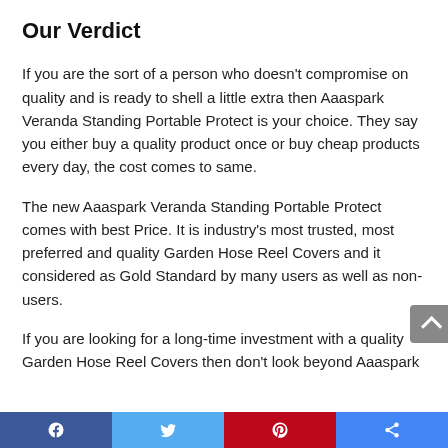Our Verdict
If you are the sort of a person who doesn't compromise on quality and is ready to shell a little extra then Aaaspark Veranda Standing Portable Protect is your choice. They say you either buy a quality product once or buy cheap products every day, the cost comes to same.
The new Aaaspark Veranda Standing Portable Protect comes with best Price. It is industry's most trusted, most preferred and quality Garden Hose Reel Covers and it considered as Gold Standard by many users as well as non-users.
If you are looking for a long-time investment with a quality Garden Hose Reel Covers then don't look beyond Aaaspark
social share bar